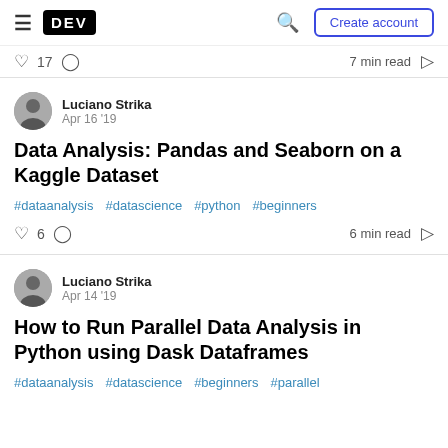DEV | Create account
♡ 17  ◯  7 min read  🔖
Luciano Strika
Apr 16 '19
Data Analysis: Pandas and Seaborn on a Kaggle Dataset
#dataanalysis  #datascience  #python  #beginners
♡ 6  ◯  6 min read  🔖
Luciano Strika
Apr 14 '19
How to Run Parallel Data Analysis in Python using Dask Dataframes
#dataanalysis  #datascience  #beginners  #parallel